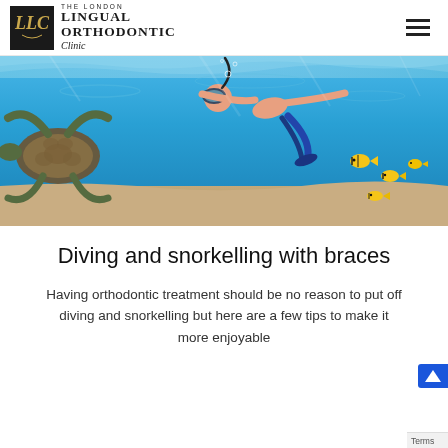THE LONDON LINGUAL ORTHODONTIC Clinic
[Figure (photo): Person snorkelling underwater with a sea turtle and tropical fish in clear blue ocean water]
Diving and snorkelling with braces
Having orthodontic treatment should be no reason to put off diving and snorkelling but here are a few tips to make it more enjoyable